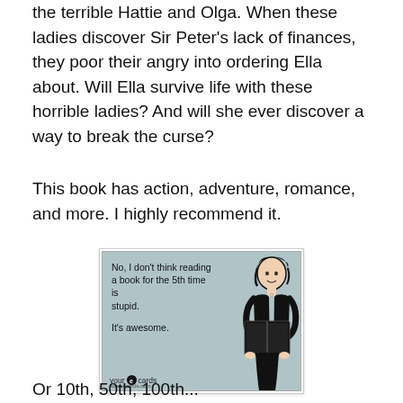the terrible Hattie and Olga. When these ladies discover Sir Peter's lack of finances, they poor their angry into ordering Ella about. Will Ella survive life with these horrible ladies? And will she ever discover a way to break the curse?
This book has action, adventure, romance, and more. I highly recommend it.
[Figure (illustration): A someecards.com ecard with a light blue-grey background. Text reads: 'No, I don't think reading a book for the 5th time is stupid. It's awesome.' On the right side is a cartoon illustration of a woman with dark hair reading a book. The someecards logo appears at the bottom left with 'someecards.com'.]
Or 10th, 50th, 100th...